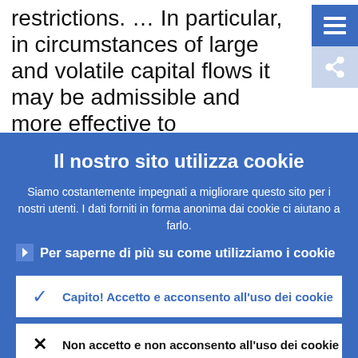restrictions. … In particular, in circumstances of large and volatile capital flows it may be admissible and more effective to complement appropriate monetary, exchange rate, and prudential
Il nostro sito utilizza cookie
Siamo costantemente impegnati a migliorare questo sito per i nostri utenti. I dati forniti in forma anonima dai cookie ci aiutano a farlo.
› Per saperne di più su come utilizziamo i cookie
✓ Capito! Accetto e acconsento all'uso dei cookie
✗ Non accetto e non acconsento all'uso dei cookie